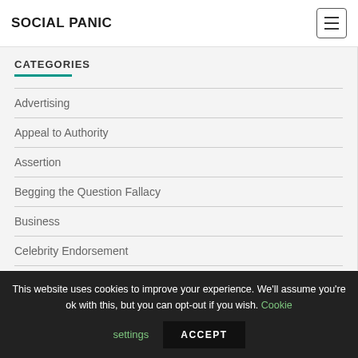SOCIAL PANIC
CATEGORIES
Advertising
Appeal to Authority
Assertion
Begging the Question Fallacy
Business
Celebrity Endorsement
This website uses cookies to improve your experience. We'll assume you're ok with this, but you can opt-out if you wish. Cookie settings ACCEPT